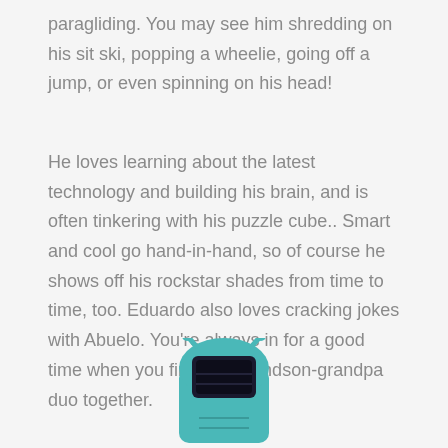paragliding. You may see him shredding on his sit ski, popping a wheelie, going off a jump, or even spinning on his head!
He loves learning about the latest technology and building his brain, and is often tinkering with his puzzle cube.. Smart and cool go hand-in-hand, so of course he shows off his rockstar shades from time to time, too. Eduardo also loves cracking jokes with Abuelo. You're always in for a good time when you find this grandson-grandpa duo together.
[Figure (illustration): A teal/turquoise robot toy with antenna-like ears and a screen face, partially visible at the bottom of the page.]